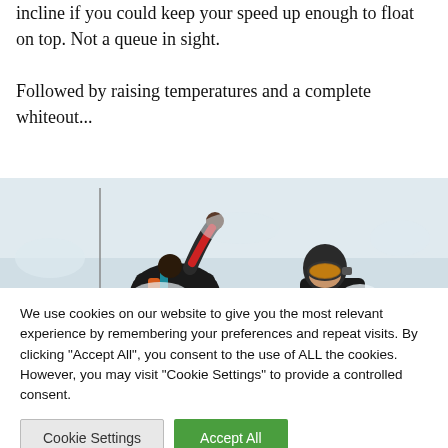incline if you could keep your speed up enough to float on top. Not a queue in sight.

Followed by raising temperatures and a complete whiteout...
[Figure (photo): Two people in snowy whiteout conditions — one partially buried in snow with arm raised, another wearing ski goggles, both in heavy winter gear surrounded by white snow]
We use cookies on our website to give you the most relevant experience by remembering your preferences and repeat visits. By clicking "Accept All", you consent to the use of ALL the cookies. However, you may visit "Cookie Settings" to provide a controlled consent.